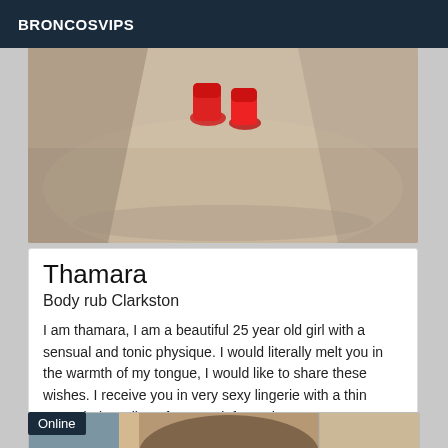BRONCOSVIPS
[Figure (photo): Photo showing red high heels in a bathtub or light-colored surface, partial torso view]
Thamara
Body rub Clarkston
I am thamara, I am a beautiful 25 year old girl with a sensual and tonic physique. I would literally melt you in the warmth of my tongue, I would like to share these wishes. I receive you in very sexy lingerie with a thin garter belt. Call me for more information
[Figure (photo): Partial photo of a woman, second listing card with Online badge overlay]